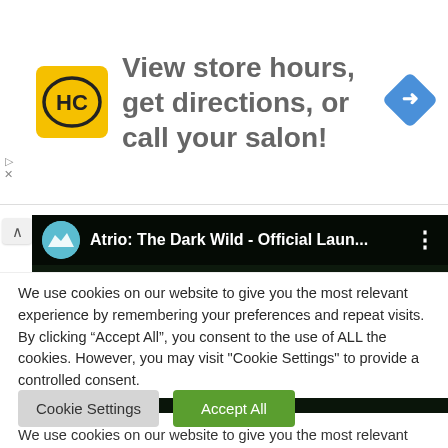[Figure (infographic): Advertisement banner: HC (Hair Club) yellow square logo on left, text 'View store hours, get directions, or call your salon!' in gray, blue diamond navigation arrow icon on right. Small play and close controls on far left edge.]
[Figure (screenshot): YouTube video thumbnail for 'Atrio: The Dark Wild - Official Laun...' showing dark game scene with isometric view. Channel icon on left, video title in white text, three-dot menu on right. Chevron/caret up arrow on left edge.]
We use cookies on our website to give you the most relevant experience by remembering your preferences and repeat visits. By clicking “Accept All”, you consent to the use of ALL the cookies. However, you may visit "Cookie Settings" to provide a controlled consent.
Cookie Settings
Accept All